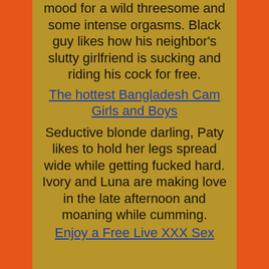mood for a wild threesome and some intense orgasms. Black guy likes how his neighbor's slutty girlfriend is sucking and riding his cock for free.
The hottest Bangladesh Cam Girls and Boys
Seductive blonde darling, Paty likes to hold her legs spread wide while getting fucked hard. Ivory and Luna are making love in the late afternoon and moaning while cumming.
Enjoy a Free Live XXX Sex